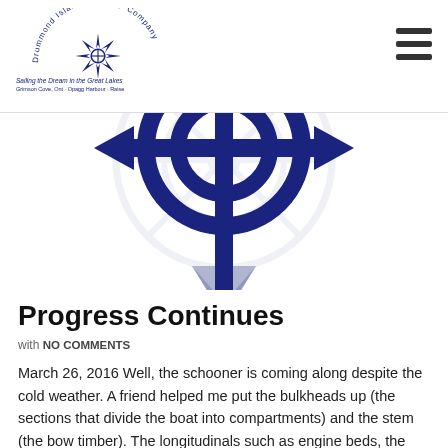Drummond Island Tall Ship Company — Sailing the Dream in the Great Lakes
[Figure (illustration): Large dark navy blue compass rose / nautical symbol with arrows pointing in cardinal directions, centered on a white background with a faint ship wheel watermark. The bottom arrow has a purple/grey shading.]
Progress Continues
with NO COMMENTS
March 26, 2016 Well, the schooner is coming along despite the cold weather. A friend helped me put the bulkheads up (the sections that divide the boat into compartments) and the stem (the bow timber). The longitudinals such as engine beds, the chines that join the